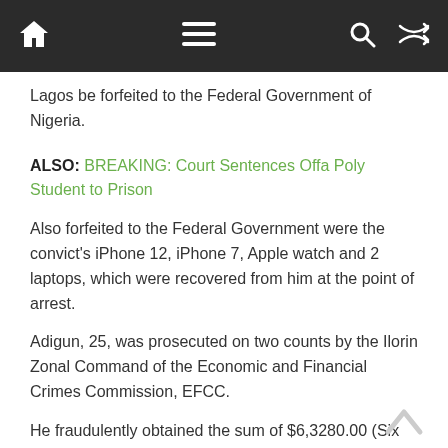Navigation bar with home, menu, search, and shuffle icons
Lagos be forfeited to the Federal Government of Nigeria.
ALSO: BREAKING: Court Sentences Offa Poly Student to Prison
Also forfeited to the Federal Government were the convict's iPhone 12, iPhone 7, Apple watch and 2 laptops, which were recovered from him at the point of arrest.
Adigun, 25, was prosecuted on two counts by the Ilorin Zonal Command of the Economic and Financial Crimes Commission, EFCC.
He fraudulently obtained the sum of $6,3280.00 (Six